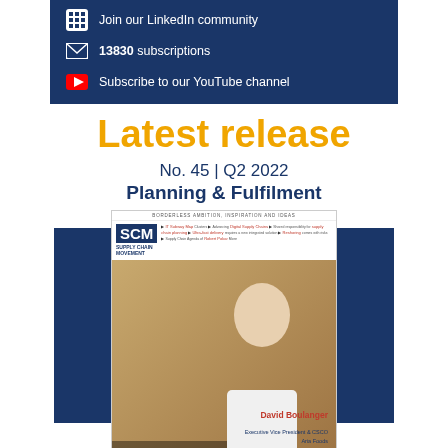Join our LinkedIn community
13830 subscriptions
Subscribe to our YouTube channel
Latest release
No. 45 | Q2 2022
Planning & Fulfilment
[Figure (photo): Cover of Supply Chain Movement magazine No. 45 Q2 2022 featuring David Boulanger, Executive Vice President & CSCO at Aria Foods, with quote 'As a cooperative we can make bold moves much Faster']